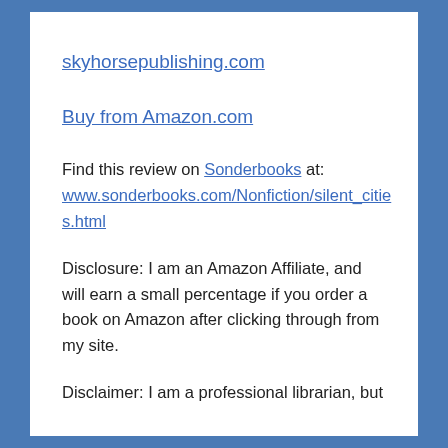skyhorsepublishing.com
Buy from Amazon.com
Find this review on Sonderbooks at: www.sonderbooks.com/Nonfiction/silent_cities.html
Disclosure: I am an Amazon Affiliate, and will earn a small percentage if you order a book on Amazon after clicking through from my site.
Disclaimer: I am a professional librarian, but